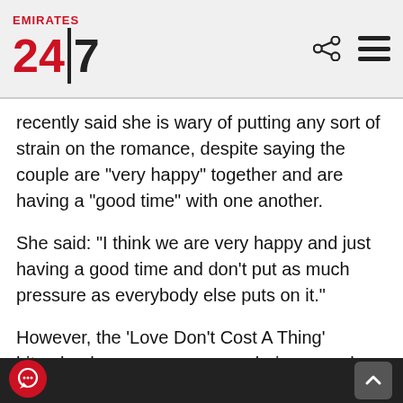Emirates 24|7
recently said she is wary of putting any sort of strain on the romance, despite saying the couple are "very happy" together and are having a "good time" with one another.
She said: "I think we are very happy and just having a good time and don't put as much pressure as everybody else puts on it."
However, the 'Love Don't Cost A Thing' hitmaker has come across as being coy when she has discussed her romance in recent interviews, and the star has revealed it is because she feels "very shy" opening up about certain topics.